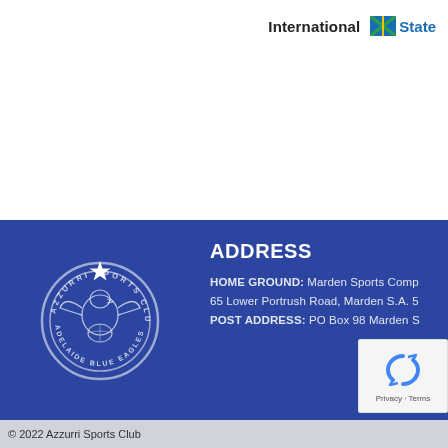International State
[Figure (logo): Azzurri Sports Club / Adelaide Blue Eagles circular crest logo in white on blue background]
ADDRESS
HOME GROUND: Marden Sports Comp 65 Lower Portrush Road, Marden S.A. 5 POST ADDRESS: PO Box 98 Marden S
[Figure (logo): reCAPTCHA badge with spinning arrows icon and Privacy - Terms text]
© 2022 Azzurri Sports Club